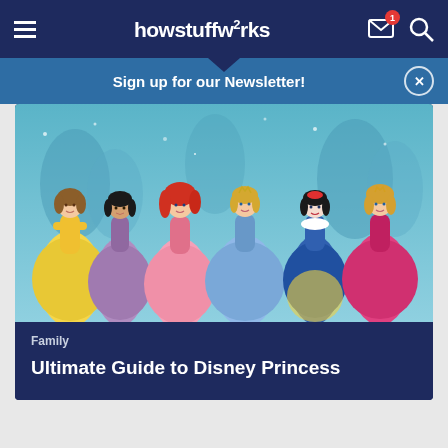howstuffworks
Sign up for our Newsletter!
[Figure (illustration): Six Disney princesses (Belle, Jasmine, Ariel, Cinderella, Snow White, Aurora) standing together against a blue winter background]
Family
Ultimate Guide to Disney Princess